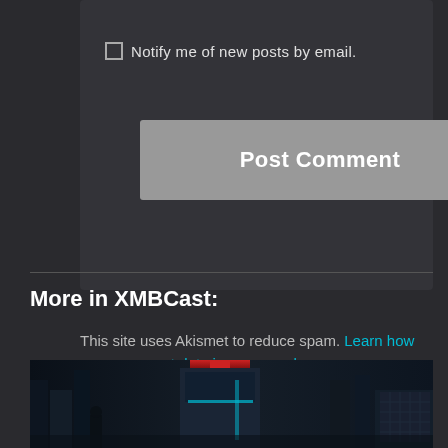Notify me of new posts by email.
Post Comment
This site uses Akismet to reduce spam. Learn how your comment data is processed.
More in XMBCast:
[Figure (photo): Screenshot of a dark sci-fi or gaming environment with neon lighting accents, showing a corridor or industrial scene.]